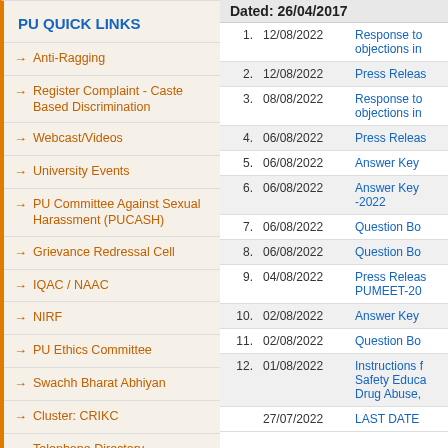PU QUICK LINKS
Anti-Ragging
Register Complaint - Caste Based Discrimination
Webcast/Videos
University Events
PU Committee Against Sexual Harassment (PUCASH)
Grievance Redressal Cell
IQAC / NAAC
NIRF
PU Ethics Committee
Swachh Bharat Abhiyan
Cluster: CRIKC
Telephone Directory
University Forms
Employment / Jobs
Right to Information
Alumni
Tenders
Dated: 26/04/2017
| # | Date | Description |
| --- | --- | --- |
| 1. | 12/08/2022 | Response to objections in |
| 2. | 12/08/2022 | Press Releas |
| 3. | 08/08/2022 | Response to objections in |
| 4. | 06/08/2022 | Press Releas |
| 5. | 06/08/2022 | Answer Key |
| 6. | 06/08/2022 | Answer Key -2022 |
| 7. | 06/08/2022 | Question Bo |
| 8. | 06/08/2022 | Question Bo |
| 9. | 04/08/2022 | Press Releas PUMEET-20 |
| 10. | 02/08/2022 | Answer Key |
| 11. | 02/08/2022 | Question Bo |
| 12. | 01/08/2022 | Instructions f Safety Educa Drug Abuse, |
|  | 27/07/2022 | LAST DATE |